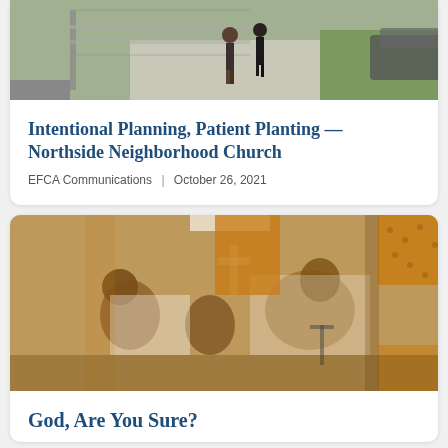[Figure (photo): Two people walking on a sidewalk beside a chain-link fence, green lawn and a parked car visible]
Intentional Planning, Patient Planting — Northside Neighborhood Church
EFCA Communications | October 26, 2021
[Figure (photo): Sepia-toned image with orange geometric overlays showing people at what appears to be a church gathering or music event]
God, Are You Sure?